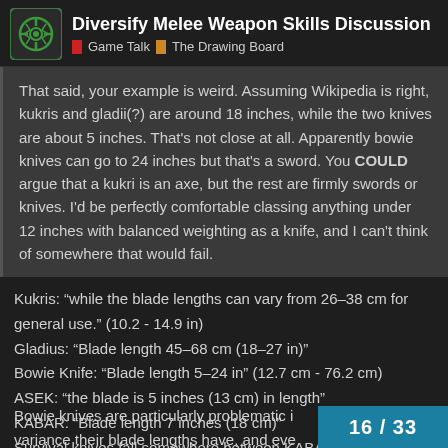Diversify Melee Weapon Skills Discussion | Game Talk | The Drawing Board
That said, your example is weird. Assuming Wikipedia is right, kukris and gladii(?) are around 18 inches, while the two knives are about 5 inches. That's not close at all. Apparently bowie knives can go to 24 inches but that's a sword. You COULD argue that a kukri is an axe, but the rest are firmly swords or knives. I'd be perfectly comfortable classing anything under 12 inches with balanced weighting as a knife, and I can't think of somewhere that would fail.
Kukris: “while the blade lengths can vary from 26–38 cm for general use.” (10.2 - 14.9 in)
Gladius: “Blade length 45–68 cm (18–27 in)”
Bowie Knife: “Blade length 5–24 in” (12.7 cm - 76.2 cm)
ASEK: “the blade is 5 inches (13 cm) in length”
KABAR: “Blade length 7 inches (18 cm)”
Survival knives fall somewhere between KABARs and Kukris.
Bowie knives are particularly problematic i… variance their blade lengths have, and eve…
16 / 33